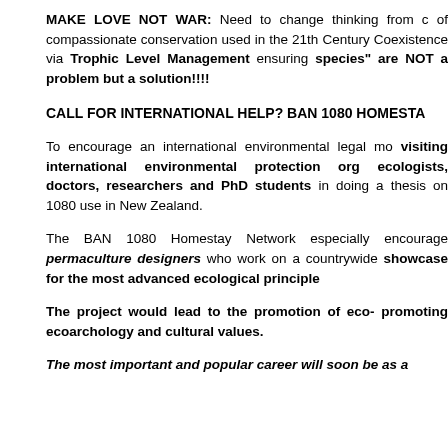MAKE LOVE NOT WAR: Need to change thinking from of compassionate conservation used in the 21th Century Coexistence via Trophic Level Management ensuring species" are NOT a problem but a solution!!!!
CALL FOR INTERNATIONAL HELP? BAN 1080 HOMESTA
To encourage an international environmental legal mo visiting international environmental protection org ecologists, doctors, researchers and PhD students in doing a thesis on 1080 use in New Zealand.
The BAN 1080 Homestay Network especially encourage permaculture designers who work on a countrywide showcase for the most advanced ecological principle
The project would lead to the promotion of eco- promoting ecoarchology and cultural values.
The most important and popular career will soon be as a